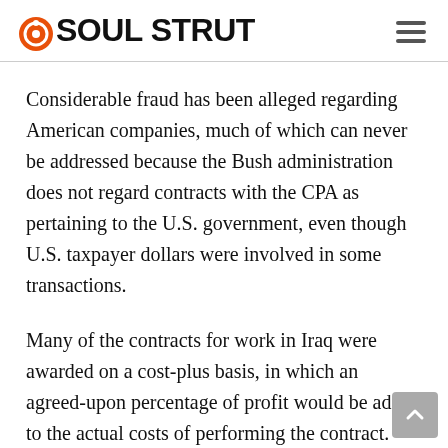SOUL STRUT
Considerable fraud has been alleged regarding American companies, much of which can never be addressed because the Bush administration does not regard contracts with the CPA as pertaining to the U.S. government, even though U.S. taxpayer dollars were involved in some transactions.
Many of the contracts for work in Iraq were awarded on a cost-plus basis, in which an agreed-upon percentage of profit would be added to the actual costs of performing the contract. Such contracts are an invitation to fraud, and unscrupulous companies will make every effort to increase their costs so that the profits will also